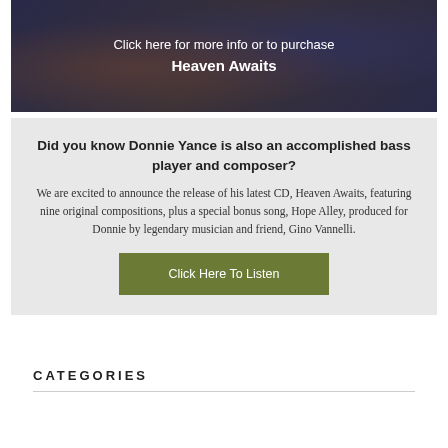[Figure (photo): Dark banner with musician playing bass guitar, overlaid with white text: 'Click here for more info or to purchase Heaven Awaits']
Did you know Donnie Yance is also an accomplished bass player and composer?
We are excited to announce the release of his latest CD, Heaven Awaits, featuring nine original compositions, plus a special bonus song, Hope Alley, produced for Donnie by legendary musician and friend, Gino Vannelli.
Click Here To Listen
CATEGORIES